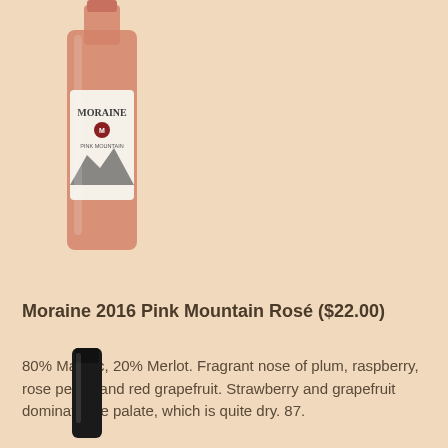[Figure (photo): A bottle of Moraine 2016 Pink Mountain Rosé wine, partially cropped at top, showing the bottle with a rose/salmon colored wine and a label featuring the Moraine brand name and a mountain illustration.]
Moraine 2016 Pink Mountain Rosé ($22.00)
80% Malbec, 20% Merlot. Fragrant nose of plum, raspberry, rose petals and red grapefruit. Strawberry and grapefruit dominate the palate, which is quite dry. 87.
[Figure (photo): Partial view of a dark wine bottle (black/dark green), showing only the neck and top portion of the bottle at the bottom of the page.]